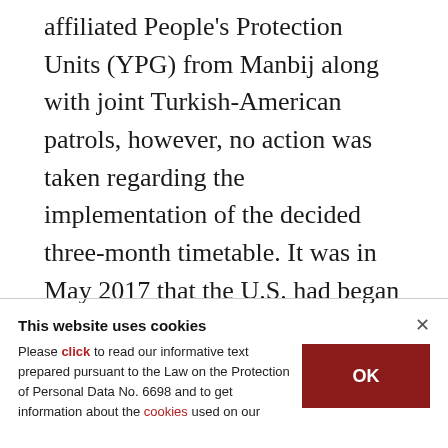affiliated People's Protection Units (YPG) from Manbij along with joint Turkish-American patrols, however, no action was taken regarding the implementation of the decided three-month timetable. It was in May 2017 that the U.S. had began distributing arms and equipment to the YPG for an offensive in the Daesh stronghold of Raqqa, not paying regard to Ankara's offers to carry out a joint offensive in the province.
This website uses cookies
Please click to read our informative text prepared pursuant to the Law on the Protection of Personal Data No. 6698 and to get information about the cookies used on our